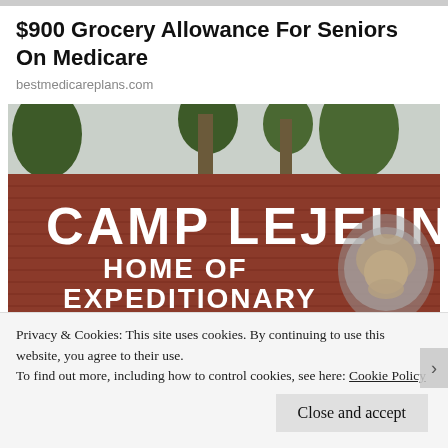[Figure (screenshot): Top strip/banner image partially visible at top of page]
$900 Grocery Allowance For Seniors On Medicare
bestmedicareplans.com
[Figure (photo): Photo of Camp Lejeune entrance sign on brick wall reading 'CAMP LEJEUNE HOME OF EXPEDITIONARY FORCES IN READINESS' with US Marine Corps emblem, trees in background]
Privacy & Cookies: This site uses cookies. By continuing to use this website, you agree to their use.
To find out more, including how to control cookies, see here: Cookie Policy
Close and accept